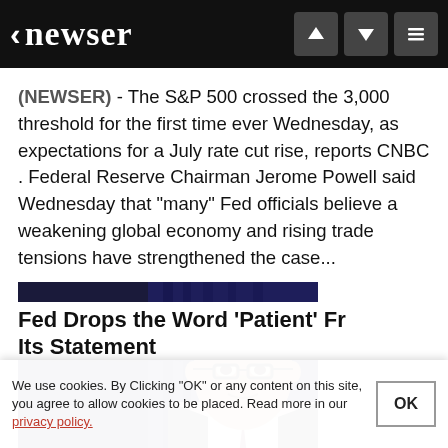< newser
(NEWSER) - The S&P 500 crossed the 3,000 threshold for the first time ever Wednesday, as expectations for a July rate cut rise, reports CNBC . Federal Reserve Chairman Jerome Powell said Wednesday that "many" Fed officials believe a weakening global economy and rising trade tensions have strengthened the case...
[Figure (photo): News article image card showing Jerome Powell with overlay text 'Fed Drops the Word \'Patient\' From Its Statement' and timestamp 'Jun 19, 2019  1:49 PM CDT']
We use cookies. By Clicking "OK" or any content on this site, you agree to allow cookies to be placed. Read more in our privacy policy.
Fed Drops the Word 'Patient' From Its Statement